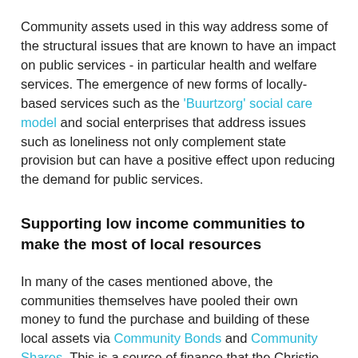Community assets used in this way address some of the structural issues that are known to have an impact on public services - in particular health and welfare services.  The emergence of new forms of locally-based services such as the 'Buurtzorg' social care model and social enterprises that address issues such as loneliness not only complement state provision but can have a positive effect upon reducing the demand for public services.
Supporting low income communities to make the most of local resources
In many of the cases mentioned above, the communities themselves have pooled their own money to fund the purchase and building of these local assets via Community Bonds and Community Shares. This is a source of finance that the Christie Report highlights as being under developed.